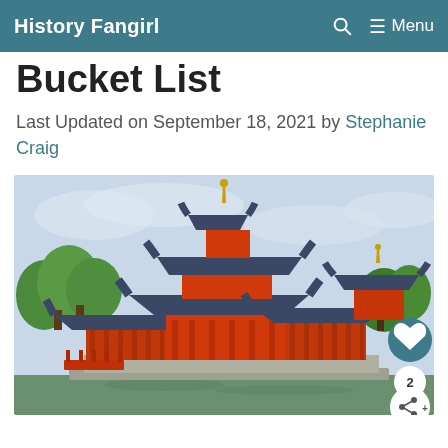History Fangirl   🔍   ≡ Menu
Bucket List
Last Updated on September 18, 2021 by Stephanie Craig
[Figure (photo): A vibrant red and blue Japanese temple (Byodoin Phoenix Hall) reflected over a pond, with lush green trees in the background and a grey cloudy sky above.]